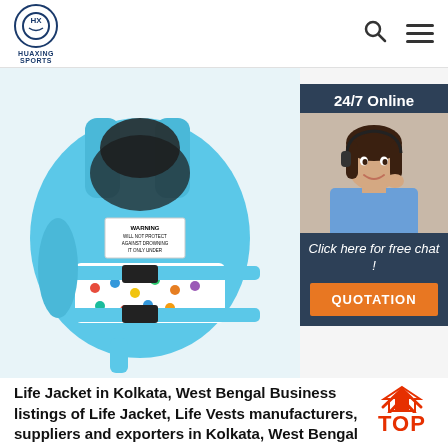HUAXING SPORTS
[Figure (photo): Children's baby life jacket/vest in light blue color with buckle straps and colorful cartoon print pattern. A WARNING label is visible on the jacket. Product shown from the back/side angle.]
[Figure (photo): 24/7 Online chat widget showing a smiling woman with a headset wearing a blue shirt, with text 'Click here for free chat!' and an orange QUOTATION button]
Life Jacket in Kolkata, West Bengal Business listings of Life Jacket, Life Vests manufacturers, suppliers and exporters in Kolkata, West Bengal along with their contact details & address. Find here Life Jacket, Life Vests,